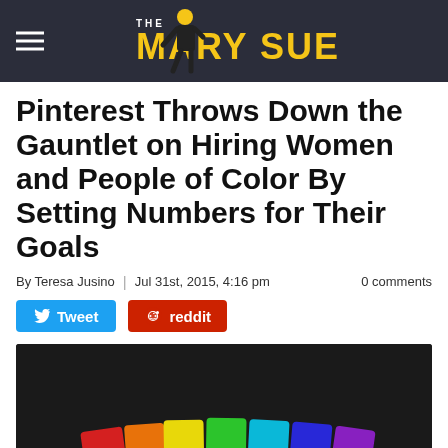THE MARY SUE
Pinterest Throws Down the Gauntlet on Hiring Women and People of Color By Setting Numbers for Their Goals
By Teresa Jusino | Jul 31st, 2015, 4:16 pm   0 comments
Tweet   reddit
[Figure (photo): Rainbow-colored chalk blocks arranged in a row on a dark background, with a Pinterest logo overlay in the bottom-left area of the image.]